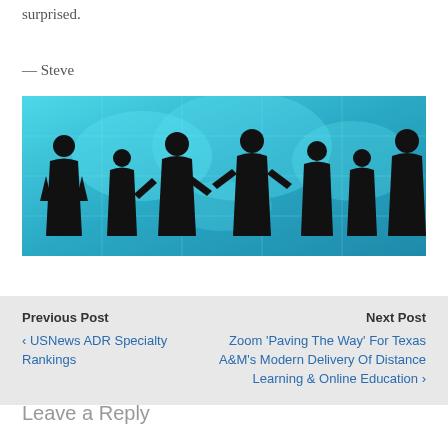surprised.
— Steve
[Figure (photo): Silhouettes of business people shaking hands in front of a blue world map background]
Previous Post
‹ USNews ADR Specialty Rankings
Next Post
Zoom 'Paving The Way' For Texas A&M's Modern Delivery Of Distance Learning & Online Education ›
Leave a Reply